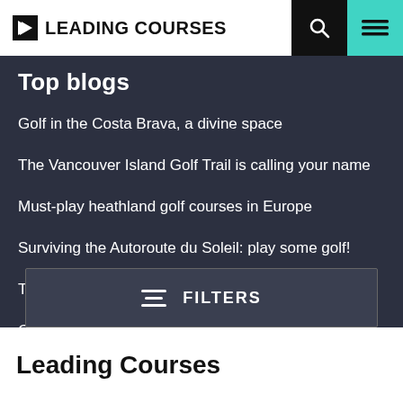LEADING COURSES
Top blogs
Golf in the Costa Brava, a divine space
The Vancouver Island Golf Trail is calling your name
Must-play heathland golf courses in Europe
Surviving the Autoroute du Soleil: play some golf!
The best value courses in Spain for under €45
Golf courses with the best surroundings in Europe
FILTERS
Leading Courses